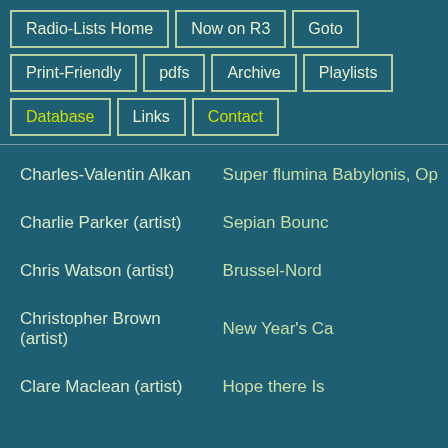Radio-Lists Home
Now on R3
Goto
Print-Friendly
pdfs
Archive
Playlists
Database
Links
Contact
| Artist | Work |
| --- | --- |
| Charles-Valentin Alkan | Super flumina Babylonis, Op |
| Charlie Parker (artist) | Sepian Bounc |
| Chris Watson (artist) | Brussel-Nord |
| Christopher Brown (artist) | New Year's Ca |
| Clare Maclean (artist) | Hope there Is |